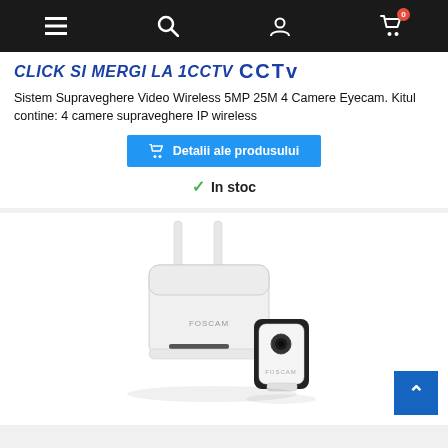Navigation bar with menu, search, account, and cart (0 items) icons
CLICK SI MERGI LA 1CCTV CCTV
Sistem Supraveghere Video Wireless 5MP 25M 4 Camere Eyecam. Kitul contine: 4 camere supraveghere IP wireless
Detalii ale produsului
In stoc
[Figure (photo): Photo of a Foscam wireless security camera kit with a white router/hub with two antennas and a small black and white wireless IP camera]